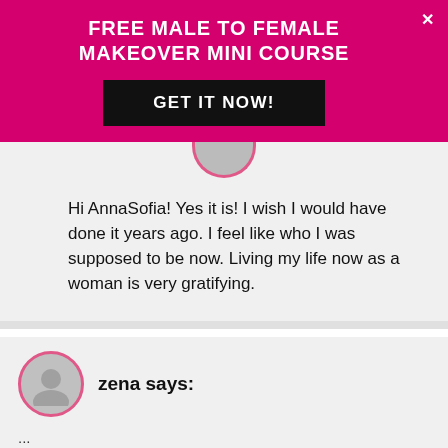FREE MALE TO FEMALE MAKEOVER MINI COURSE
GET IT NOW!
Hi AnnaSofia! Yes it is! I wish I would have done it years ago. I feel like who I was supposed to be now. Living my life now as a woman is very gratifying.
zena says:
...